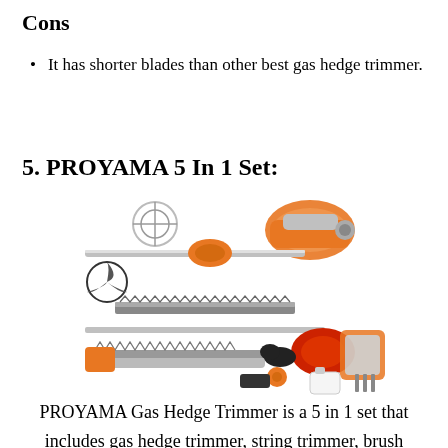Cons
It has shorter blades than other best gas hedge trimmer.
5. PROYAMA 5 In 1 Set:
[Figure (photo): Product photo of PROYAMA 5 In 1 Set showing multiple garden tools including gas hedge trimmer, string trimmer, brush cutter, chainsaw attachment, and safety gear (gloves, ear muffs, face shield), all in orange and silver colors, laid out on white background.]
PROYAMA Gas Hedge Trimmer is a 5 in 1 set that includes gas hedge trimmer, string trimmer, brush